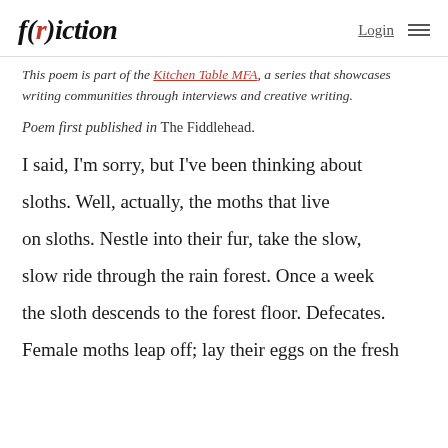f(r)iction — Login ≡
This poem is part of the Kitchen Table MFA, a series that showcases writing communities through interviews and creative writing.
Poem first published in The Fiddlehead.
I said, I'm sorry, but I've been thinking about

sloths. Well, actually, the moths that live

on sloths. Nestle into their fur, take the slow,

slow ride through the rain forest. Once a week

the sloth descends to the forest floor. Defecates.

Female moths leap off; lay their eggs on the fresh